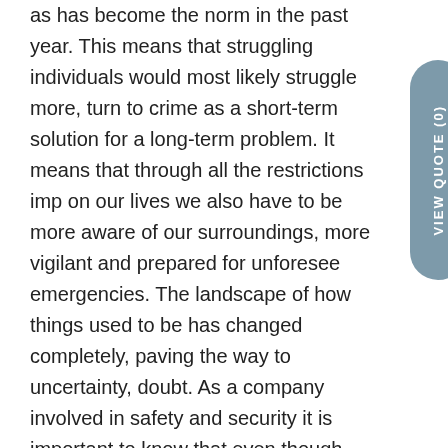as has become the norm in the past year. This means that struggling individuals would most likely struggle more, turn to crime as a short-term solution for a long-term problem. It means that through all the restrictions imp on our lives we also have to be more aware of our surroundings, more vigilant and prepared for unforesee emergencies. The landscape of how things used to be has changed completely, paving the way to uncertainty, doubt. As a company involved in safety and security it is important to know that even though most things in and around our daily lives have seen some form of change, our commitment to safety and security for all individuals and communities have not changed.
At MyLifeline we understand that during this time of uncertainty, what people want most is to feel safe, to have peace of mind in the event of an emergency. There are a